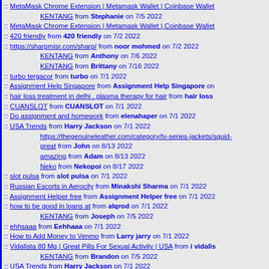:: MetaMask Chrome Extension | Metamask Wallet | Coinbase Wallet KENTANG from Stephanie on 7/5 2022
:: MetaMask Chrome Extension | Metamask Wallet | Coinbase Wallet
:: 420 friendly from 420 friendly on 7/2 2022
:: https://sharpmisr.com/sharp/ from noor mohmed on 7/2 2022 KENTANG from Anthony on 7/6 2022 KENTANG from Brittany on 7/16 2022
:: turbo tergacor from turbo on 7/1 2022
:: Assignment Help Singapore from Assignment Help Singapore on
:: hair loss treatment in delhi , plasma therapy for hair from hair loss
:: CUANSLOT from CUANSLOT on 7/1 2022
:: Do assignment and homework from elenahaper on 7/1 2022
:: USA Trends from Harry Jackson on 7/1 2022 https://thegenuineleather.com/category/tv-series-jackets/squid-great from John on 8/13 2022 amazing from Adam on 8/13 2022 Neko from Nekopoi on 8/17 2022
:: slot pulsa from slot pulsa on 7/1 2022
:: Russian Escorts in Aerocity from Minakshi Sharma on 7/1 2022
:: Assignment Helper free from Assignment Helper free on 7/1 2022
:: how to be good in loans at from alqrod on 7/1 2022 KENTANG from Joseph on 7/5 2022
:: ehhsaaa from Eehhaaa on 7/1 2022
:: How to Add Money to Venmo from Larry jarry on 7/1 2022
:: Vidalista 80 Mg | Great Pills For Sexual Activity | USA from i vidalis KENTANG from Brandon on 7/5 2022
:: USA Trends from Harry Jackson on 7/1 2022
:: USA Trends from Harry Jackson on 7/1 2022
:: FEGD from DAVID on 7/1 2022
:: Ghaziabad Escorts from Babita Sharma on 7/1 2022